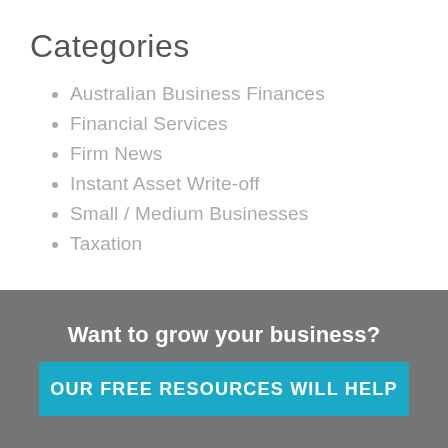Categories
Australian Business Finances
Financial Services
Firm News
Instant Asset Write-off
Small / Medium Businesses
Taxation
Want to grow your business?
OUR FREE RESOURCES WILL HELP